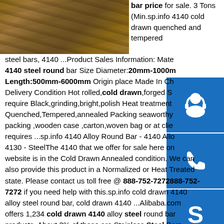[Figure (photo): Stack of steel plates/bars photographed from above, brownish-gold metallic texture]
bar price for sale. 3 Tons (Min.sp.info 4140 cold drawn quenched and tempered steel bars, 4140 ...Product Sales Information: Mate 4140 steel round bar Size Diameter:20mm-1000mm Length:500mm-6000mm Origin place Made In Ch Delivery Condition Hot rolled,cold drawn,forged S require Black,grinding,bright,polish Heat treatment Quenched,Tempered,annealed Packing seaworthy packing ,wooden case ,carton,woven bag or at clie requires ...sp.info 4140 Alloy Round Bar - 4140 Allo 4130 - SteelThe 4140 that we offer for sale here on website is in the Cold Drawn Annealed condition. We can also provide this product in a Normalized or Heat Treated state. Please contact us toll free @ 888-752-7272888-752-7272 if you need help with this.sp.info cold drawn 4140 alloy steel round bar, cold drawn 4140 ...Alibaba.com offers 1,234 cold drawn 4140 alloy steel round bar products. About 2% of these are Stainless Steel Bars,
[Figure (infographic): Three blue square icon buttons on the right side: headset/customer service icon, phone icon, Skype icon]